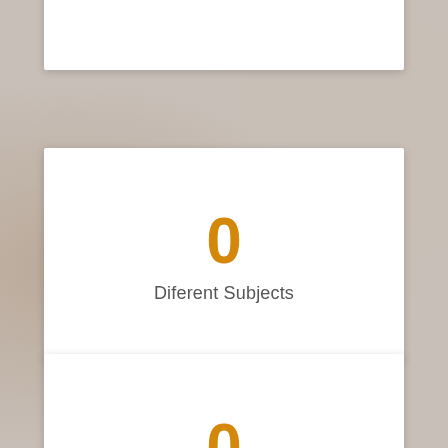0
Diferent Subjects
0
Dedicated Teachers